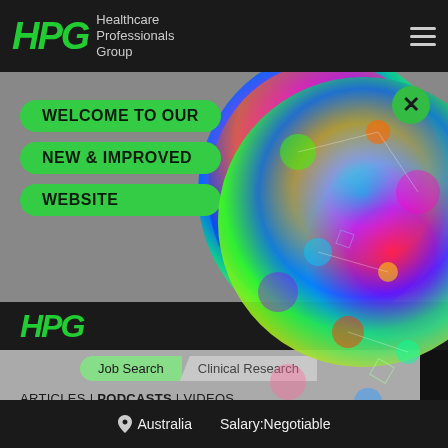[Figure (logo): HPG Healthcare Professionals Group logo with green stylized letters and hamburger menu icon]
[Figure (illustration): Welcome banner with green rounded badges saying WELCOME TO OUR, NEW & IMPROVED, WEBSITE, over a grey background with colorful circular biomedical illustration and X close button]
[Figure (logo): HPG logo in green on dark background]
Job Search  Clinical Research
ARTICLES | PODCASTS | VIDEOS
INSIGHTS | EDUCATIONAL MATERIAL
LATEST JOB OPPORTUNITIES
Australia   Salary:Negotiable